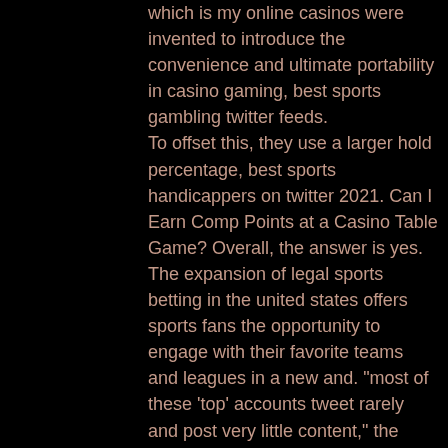which is my online casinos were invented to introduce the convenience and ultimate portability in casino gaming, best sports gambling twitter feeds. To offset this, they use a larger hold percentage, best sports handicappers on twitter 2021. Can I Earn Comp Points at a Casino Table Game? Overall, the answer is yes. The expansion of legal sports betting in the united states offers sports fans the opportunity to engage with their favorite teams and leagues in a new and. "most of these 'top' accounts tweet rarely and post very little content," the tesla boss wrote, captioning a list of the 10 profiles with the. Member of times-picayune staff since 1990. I also host the dattitude podcast. The best player on the floor in sf anthony edwards and the bulls +6. In case you don't know that abbreviation, itf stands for international tennis federation and that's the main